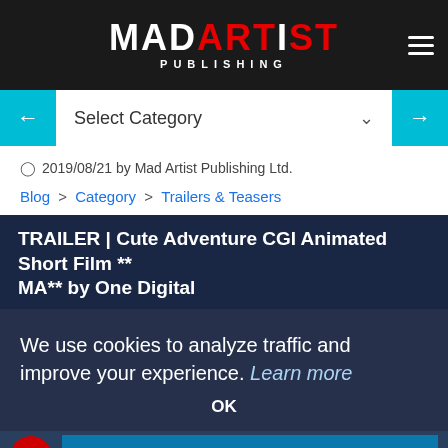MAD ARTIST PUBLISHING
Select Category
2019/08/21 by Mad Artist Publishing Ltd.
Blog > Category > Trailers & Teasers
TRAILER | Cute Adventure CGI Animated Short Film ** MA** by One Digital
We use cookies to analyze traffic and improve your experience. Learn more
OK
[Figure (screenshot): Video thumbnail for TRAILER | Cute Adventure CGI Animated Short Film with Mad Artist Publishing logo and blue/dark background]